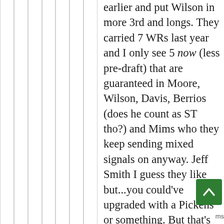earlier and put Wilson in more 3rd and longs. They carried 7 WRs last year and I only see 5 now (less pre-draft) that are guaranteed in Moore, Wilson, Davis, Berrios (does he count as ST tho?) and Mims who they keep sending mixed signals on anyway. Jeff Smith I guess they like but...you could've upgraded with a Pickens or something. But that's still only 6.

This isn't to slander a Bree who I've stated many times was my RB1 as well. It's just the Jets have lot of work to do and RB still wasn't a luxury